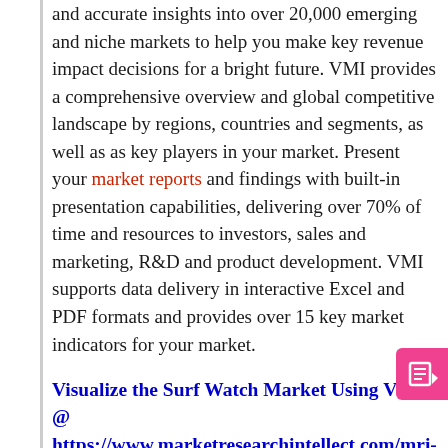and accurate insights into over 20,000 emerging and niche markets to help you make key revenue impact decisions for a bright future. VMI provides a comprehensive overview and global competitive landscape by regions, countries and segments, as well as as key players in your market. Present your market reports and findings with built-in presentation capabilities, delivering over 70% of time and resources to investors, sales and marketing, R&D and product development. VMI supports data delivery in interactive Excel and PDF formats and provides over 15 key market indicators for your market.
Visualize the Surf Watch Market Using VMI @ https://www.marketresearchintellect.com/mri-intelligence/
The study thoroughly explores the profiles of the major market players and their main financial aspects. This comprehensive business analysis report is useful for all new entrants and new entrants as they design their business strategies. This report covers the production, revenue, market share and growth rate of the Surf Watches market for each